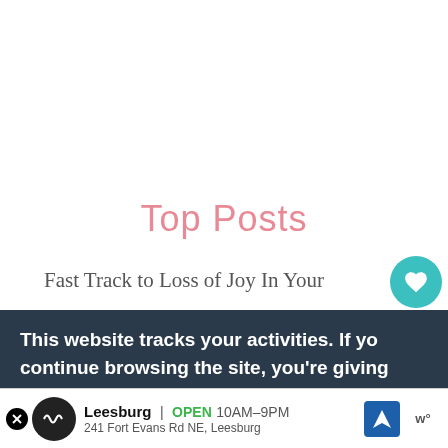Top Posts
Fast Track to Loss of Joy In Your
[Figure (screenshot): Heart/like circular teal button with count '1' below it, and a share circular teal button below that]
[Figure (screenshot): What's Next panel showing book thumbnail and text 'My Summer Journal and...']
This website tracks your activities. If you continue browsing the site, you're giving us consent to track your activity.
[Figure (screenshot): Green 'Continue Browsing' button]
[Figure (screenshot): Ad banner for Leesburg store showing logo, OPEN 10AM-9PM, 241 Fort Evans Rd NE Leesburg, navigation icon]